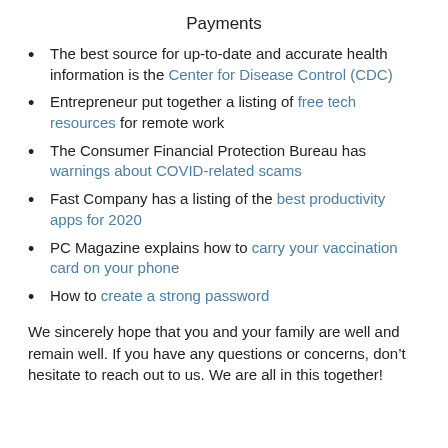Payments
The best source for up-to-date and accurate health information is the Center for Disease Control (CDC)
Entrepreneur put together a listing of free tech resources for remote work
The Consumer Financial Protection Bureau has warnings about COVID-related scams
Fast Company has a listing of the best productivity apps for 2020
PC Magazine explains how to carry your vaccination card on your phone
How to create a strong password
We sincerely hope that you and your family are well and remain well. If you have any questions or concerns, don’t hesitate to reach out to us. We are all in this together!